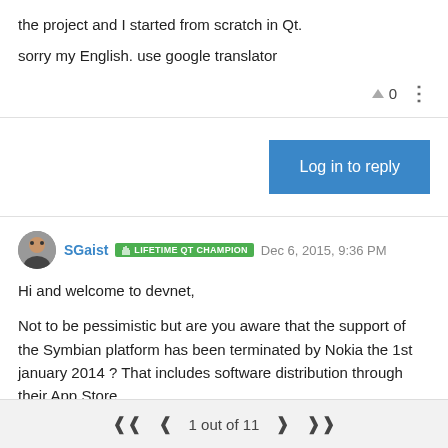the project and I started from scratch in Qt.
sorry my English. use google translator
Log in to reply
SGaist LIFETIME QT CHAMPION Dec 6, 2015, 9:36 PM
Hi and welcome to devnet,
Not to be pessimistic but are you aware that the support of the Symbian platform has been terminated by Nokia the 1st january 2014 ? That includes software distribution through their App Store.
That article might give you access to some of the old SDK downloads but again, that platform is pretty much a dead end.
1 out of 11